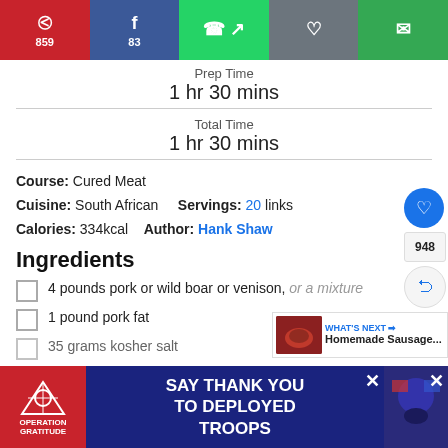[Figure (screenshot): Social sharing bar with Pinterest (859), Facebook (83), WhatsApp, Like, and Email buttons]
Prep Time
1 hr 30 mins
Total Time
1 hr 30 mins
Course: Cured Meat
Cuisine: South African    Servings: 20 links
Calories: 334kcal    Author: Hank Shaw
Ingredients
4 pounds pork or wild boar or venison, or a mixture
1 pound pork fat
35 grams kosher salt
[Figure (infographic): WHAT'S NEXT arrow with Homemade Sausage... thumbnail]
[Figure (infographic): Operation Gratitude advertisement: SAY THANK YOU TO DEPLOYED TROOPS]